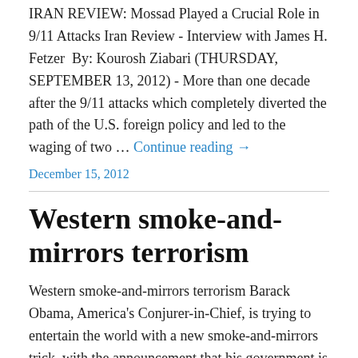IRAN REVIEW: Mossad Played a Crucial Role in 9/11 Attacks Iran Review - Interview with James H. Fetzer  By: Kourosh Ziabari (THURSDAY, SEPTEMBER 13, 2012) - More than one decade after the 9/11 attacks which completely diverted the path of the U.S. foreign policy and led to the waging of two … Continue reading →
December 15, 2012
Western smoke-and-mirrors terrorism
Western smoke-and-mirrors terrorism Barack Obama, America's Conjurer-in-Chief, is trying to entertain the world with a new smoke-and-mirrors trick, with the announcement that his government is recognizing the